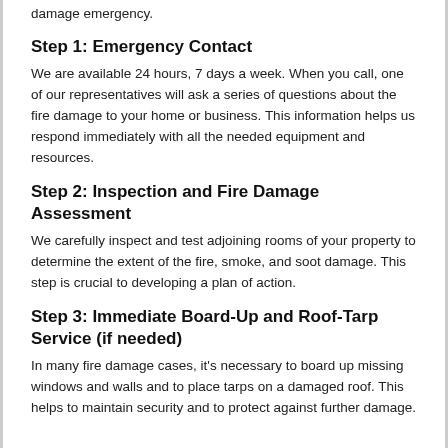damage emergency.
Step 1: Emergency Contact
We are available 24 hours, 7 days a week. When you call, one of our representatives will ask a series of questions about the fire damage to your home or business. This information helps us respond immediately with all the needed equipment and resources.
Step 2: Inspection and Fire Damage Assessment
We carefully inspect and test adjoining rooms of your property to determine the extent of the fire, smoke, and soot damage. This step is crucial to developing a plan of action.
Step 3: Immediate Board-Up and Roof-Tarp Service (if needed)
In many fire damage cases, it's necessary to board up missing windows and walls and to place tarps on a damaged roof. This helps to maintain security and to protect against further damage.